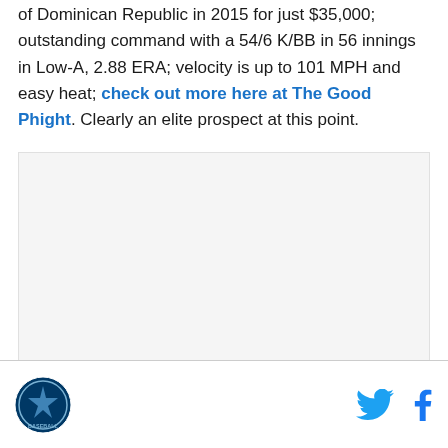of Dominican Republic in 2015 for just $35,000; outstanding command with a 54/6 K/BB in 56 innings in Low-A, 2.88 ERA; velocity is up to 101 MPH and easy heat; check out more here at The Good Phight. Clearly an elite prospect at this point.
[Figure (other): Large blank/white advertisement placeholder area]
SBNation logo | Twitter icon | Facebook icon